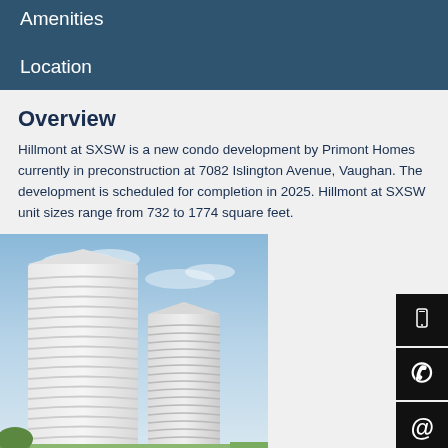Amenities
Location
Overview
Hillmont at SXSW is a new condo development by Primont Homes currently in preconstruction at 7082 Islington Avenue, Vaughan. The development is scheduled for completion in 2025. Hillmont at SXSW unit sizes range from 732 to 1774 square feet.
[Figure (photo): Architectural rendering of two tall white residential condo towers with curved balconies against a blue sky, with green trees visible at the base.]